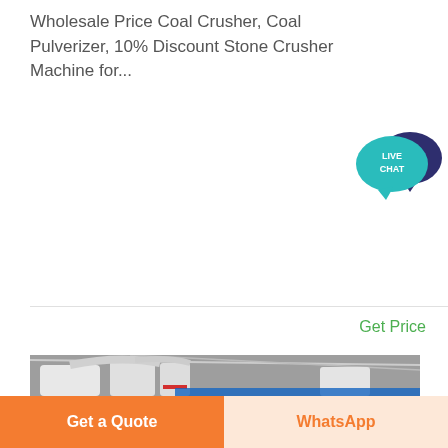Wholesale Price Coal Crusher, Coal Pulverizer, 10% Discount Stone Crusher Machine for...
[Figure (other): Live Chat speech bubble icon in teal/green with dark blue background bubble, text reads LIVE CHAT]
Get Price
[Figure (photo): Industrial interior photograph of large coal pulverizer / stone crusher machinery with white pipes and silos inside a steel-framed warehouse building]
Get a Quote
WhatsApp